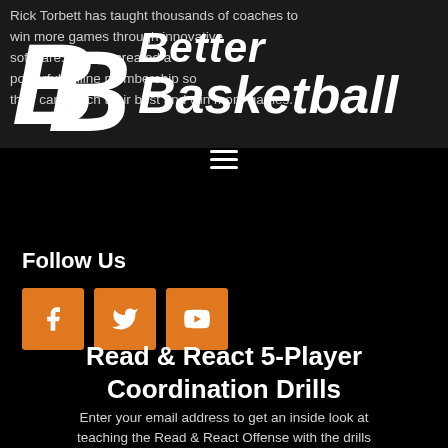[Figure (logo): Better Basketball logo with two stylized B letters and italic text reading 'Better Basketball']
Rick Torbett has taught thousands of coaches to win more games through innovative software. He has created a powerful online membership so they can coach their best and win more games.
Follow Us
[Figure (infographic): Three orange square social media icon buttons for Facebook, Twitter, and YouTube]
Read & React 5-Player Coordination Drills
Enter your email address to get an inside look at teaching the Read & React Offense with the drills